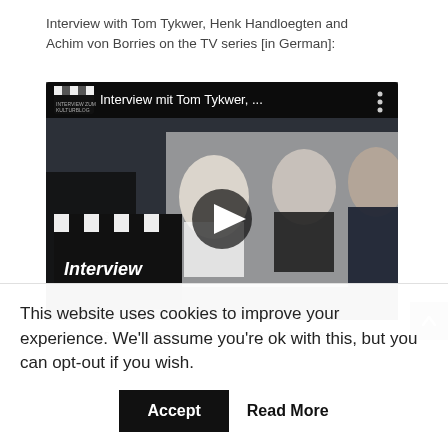Interview with Tom Tykwer, Henk Handloegten and Achim von Borries on the TV series [in German]:
[Figure (screenshot): Video thumbnail showing interview with Tom Tykwer and others, with clapperboard overlay and play button. Title bar reads 'Interview mit Tom Tykwer, ...' with clapper icon.]
Volker Kutscher's interview at Leipziger Buchmesse in
This website uses cookies to improve your experience. We'll assume you're ok with this, but you can opt-out if you wish.